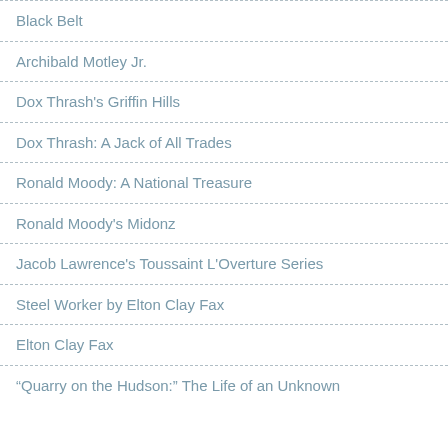Black Belt
Archibald Motley Jr.
Dox Thrash's Griffin Hills
Dox Thrash: A Jack of All Trades
Ronald Moody: A National Treasure
Ronald Moody's Midonz
Jacob Lawrence's Toussaint L'Overture Series
Steel Worker by Elton Clay Fax
Elton Clay Fax
“Quarry on the Hudson:” The Life of an Unknown